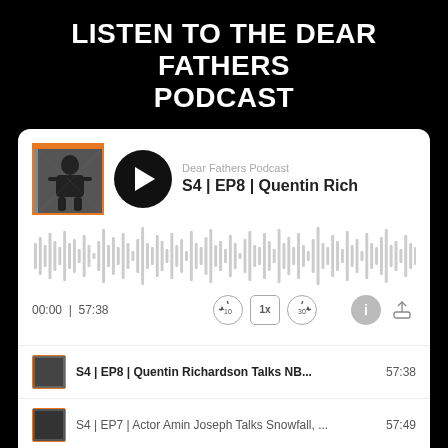LISTEN TO THE DEAR FATHERS PODCAST
[Figure (screenshot): Podcast player widget showing Dear Fathers Podcast, S4 EP8 Quentin Richardson episode with waveform visualization and playback controls showing 00:00 | 57:38]
S4 | EP8 | Quentin Richardson Talks NB... 57:38
S4 | EP7 | Actor Amin Joseph Talks Snowfall, ... 57:49
S4 | EP6 | Actor Curtiss Cook Talks The Chi, F... 48:10
S4 | EP5 | TV Personality Mike Hill Talks Fathe... 58:07